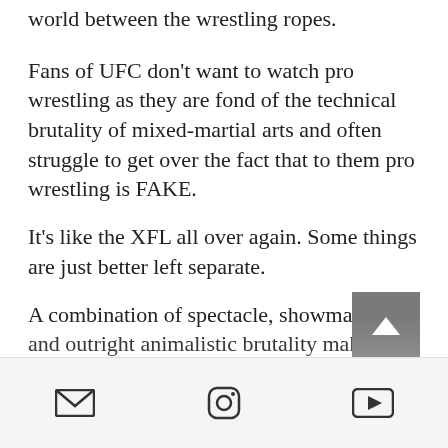…and prefer to watch the fictional world between the wrestling ropes.
Fans of UFC don't want to watch pro wrestling as they are fond of the technical brutality of mixed-martial arts and often struggle to get over the fact that to them pro wrestling is FAKE.
It's like the XFL all over again. Some things are just better left separate.
A combination of spectacle, showmanship and outright animalistic brutality make the steel cage match and it's many evolutions so appealing to long-time wrestling…
Email | Instagram | YouTube